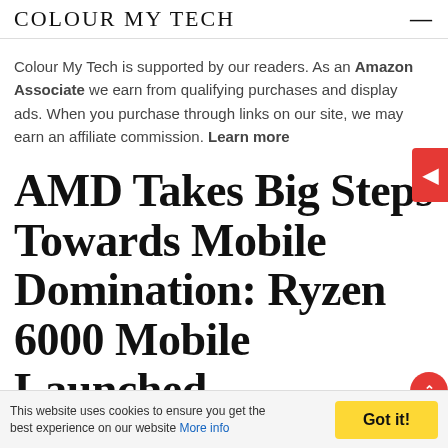Colour My Tech
Colour My Tech is supported by our readers. As an Amazon Associate we earn from qualifying purchases and display ads. When you purchase through links on our site, we may earn an affiliate commission. Learn more
AMD Takes Big Steps Towards Mobile Domination: Ryzen 6000 Mobile Launched
DEBJYOTI MUSTAFI / COMPUTER COMPONENTS PROCESSORS
This website uses cookies to ensure you get the best experience on our website More info   Got it!